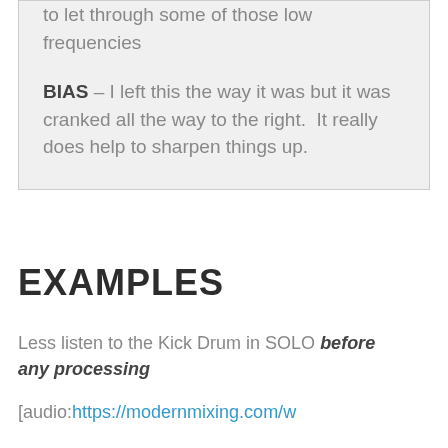to let through some of those low frequencies
BIAS – I left this the way it was but it was cranked all the way to the right. It really does help to sharpen things up.
EXAMPLES
Less listen to the Kick Drum in SOLO before any processing
[audio:https://modernmixing.com/w